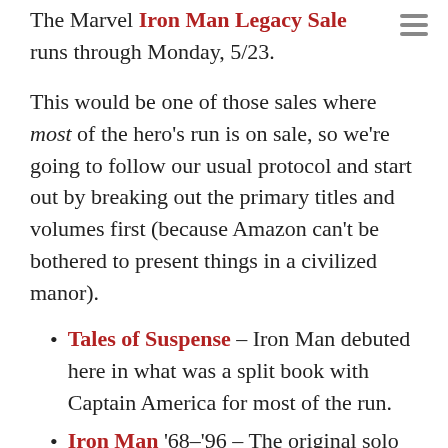The Marvel Iron Man Legacy Sale runs through Monday, 5/23.
This would be one of those sales where most of the hero's run is on sale, so we're going to follow our usual protocol and start out by breaking out the primary titles and volumes first (because Amazon can't be bothered to present things in a civilized manor).
Tales of Suspense – Iron Man debuted here in what was a split book with Captain America for most of the run.
Iron Man '68-'96 – The original solo run in the era before constant relaunch gimmicks